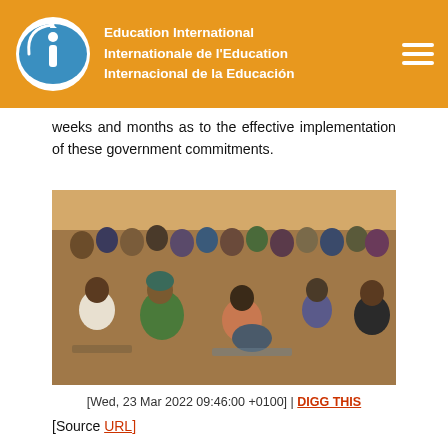Education International / Internationale de l'Education / Internacional de la Educación
weeks and months as to the effective implementation of these government commitments.
[Figure (photo): Large crowd of people seated in an outdoor or semi-outdoor gathering, with diverse individuals in colorful clothing, appearing to be at a public meeting or assembly in West Africa.]
[Wed, 23 Mar 2022 09:46:00 +0100] | DIGG THIS
[Source URL]